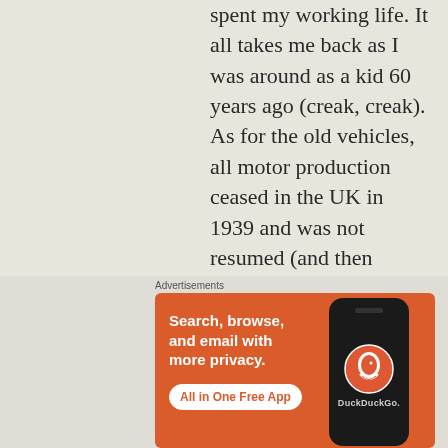spent my working life. It all takes me back as I was around as a kid 60 years ago (creak, creak). As for the old vehicles, all motor production ceased in the UK in 1939 and was not resumed (and then slowly) until 1946. Result was that many pre-war cars were on British roads up into the
Advertisements
[Figure (illustration): DuckDuckGo advertisement banner with orange background. Left side has white bold text 'Search, browse, and email with more privacy.' and a white pill-shaped button 'All in One Free App'. Right side shows a smartphone with the DuckDuckGo duck logo and 'DuckDuckGo.' text below.]